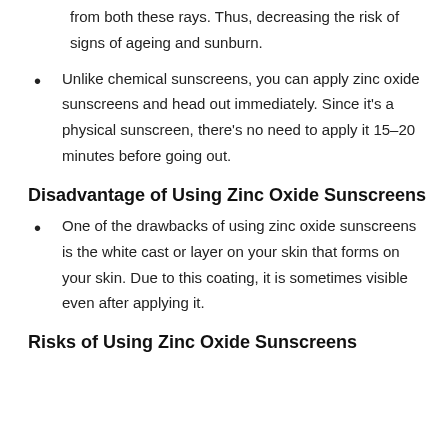However, zinc oxide sunscreens can offer protection from both these rays. Thus, decreasing the risk of signs of ageing and sunburn.
Unlike chemical sunscreens, you can apply zinc oxide sunscreens and head out immediately. Since it’s a physical sunscreen, there’s no need to apply it 15–20 minutes before going out.
Disadvantage of Using Zinc Oxide Sunscreens
One of the drawbacks of using zinc oxide sunscreens is the white cast or layer on your skin that forms on your skin. Due to this coating, it is sometimes visible even after applying it.
Risks of Using Zinc Oxide Sunscreens